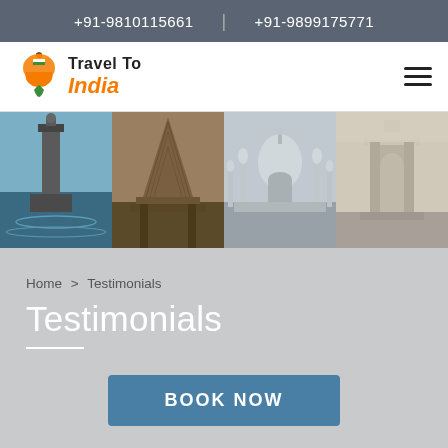+91-9810115661  |  +91-9899175771
[Figure (logo): Travel To India logo with orange India map silhouette and green teardrop, text 'Travel To India' in bold]
[Figure (photo): Four-panel hero image strip showing Indian landmarks: lighthouse/tower by sea, ornate temple, Taj Mahal, India Gate]
Home > Testimonials
Testimonials
BOOK NOW